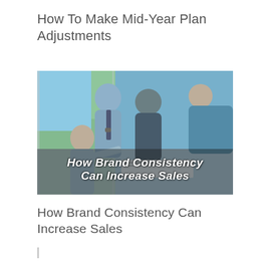How To Make Mid-Year Plan Adjustments
[Figure (photo): Business professionals leaning over a table reviewing documents in a bright office with large windows; overlaid bold italic white text reads 'How Brand Consistency Can Increase Sales']
How Brand Consistency Can Increase Sales